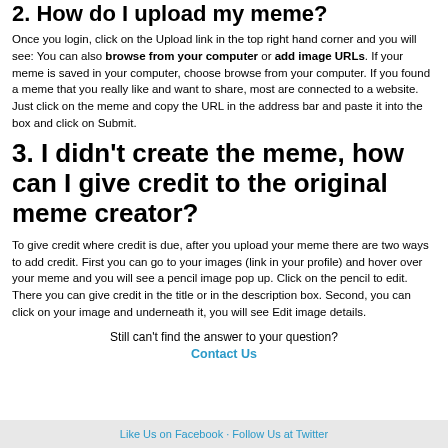2. How do I upload my meme?
Once you login, click on the Upload link in the top right hand corner and you will see: You can also browse from your computer or add image URLs. If your meme is saved in your computer, choose browse from your computer. If you found a meme that you really like and want to share, most are connected to a website. Just click on the meme and copy the URL in the address bar and paste it into the box and click on Submit.
3. I didn't create the meme, how can I give credit to the original meme creator?
To give credit where credit is due, after you upload your meme there are two ways to add credit. First you can go to your images (link in your profile) and hover over your meme and you will see a pencil image pop up. Click on the pencil to edit. There you can give credit in the title or in the description box. Second, you can click on your image and underneath it, you will see Edit image details.
Still can't find the answer to your question?
Contact Us
Like Us on Facebook · Follow Us at Twitter